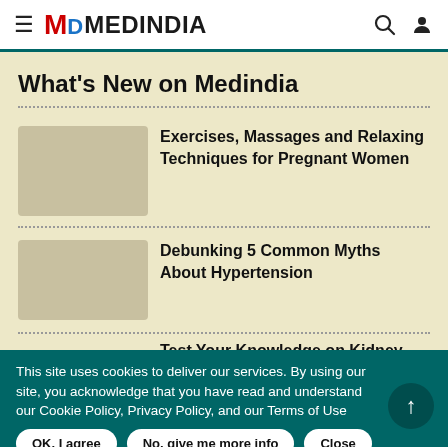MEDINDIA
What's New on Medindia
Exercises, Massages and Relaxing Techniques for Pregnant Women
Debunking 5 Common Myths About Hypertension
Test Your Knowledge on Kidney
This site uses cookies to deliver our services. By using our site, you acknowledge that you have read and understand our Cookie Policy, Privacy Policy, and our Terms of Use